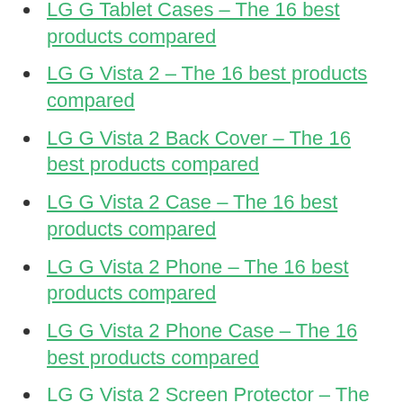LG G Tablet Cases – The 16 best products compared
LG G Vista 2 – The 16 best products compared
LG G Vista 2 Back Cover – The 16 best products compared
LG G Vista 2 Case – The 16 best products compared
LG G Vista 2 Phone – The 16 best products compared
LG G Vista 2 Phone Case – The 16 best products compared
LG G Vista 2 Screen Protector – The 16